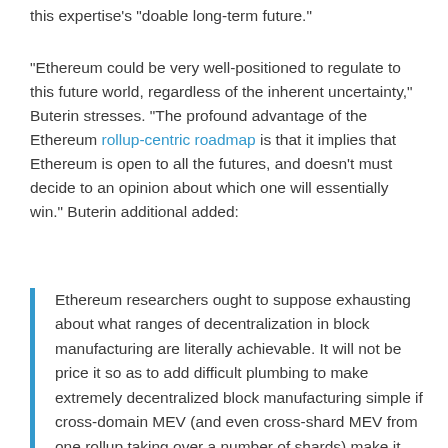this expertise's “doable long-term future.”
“Ethereum could be very well-positioned to regulate to this future world, regardless of the inherent uncertainty,” Buterin stresses. “The profound advantage of the Ethereum rollup-centric roadmap is that it implies that Ethereum is open to all the futures, and doesn’t must decide to an opinion about which one will essentially win.” Buterin additional added:
Ethereum researchers ought to suppose exhausting about what ranges of decentralization in block manufacturing are literally achievable. It will not be price it so as to add difficult plumbing to make extremely decentralized block manufacturing simple if cross-domain MEV (and even cross-shard MEV from one rollup taking over a number of shards) make it unsustainable regardless